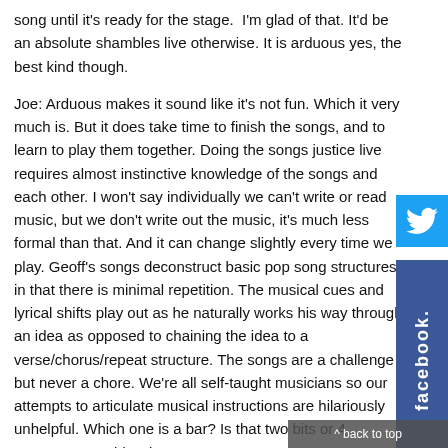song until it's ready for the stage. I'm glad of that. It'd be an absolute shambles live otherwise. It is arduous yes, the best kind though.
Joe: Arduous makes it sound like it's not fun. Which it very much is. But it does take time to finish the songs, and to learn to play them together. Doing the songs justice live requires almost instinctive knowledge of the songs and each other. I won't say individually we can't write or read music, but we don't write out the music, it's much less formal than that. And it can change slightly every time we play. Geoff's songs deconstruct basic pop song structures in that there is minimal repetition. The musical cues and lyrical shifts play out as he naturally works his way through an idea as opposed to chaining the idea to a verse/chorus/repeat structure. The songs are a challenge but never a chore. We're all self-taught musicians so our attempts to articulate musical instructions are hilariously unhelpful. Which one is a bar? Is that two bits or 4 measures or 6 biscuits?
Dean: When we get together to practice it's usually to prepare for a gig, so when we actually get down to working on new songs it's a real treat. The lads are always writing away themselves so when we get to it there is often a good backlog of songs to catch up on. With all the